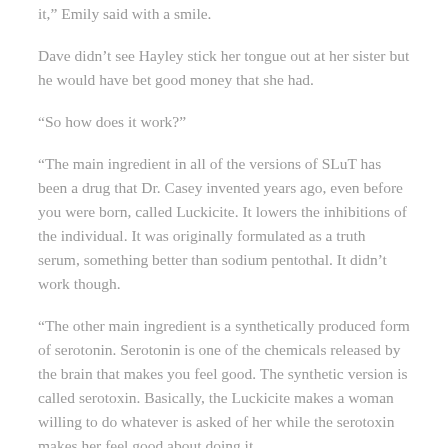it," Emily said with a smile.
Dave didn't see Hayley stick her tongue out at her sister but he would have bet good money that she had.
“So how does it work?”
“The main ingredient in all of the versions of SLuT has been a drug that Dr. Casey invented years ago, even before you were born, called Luckicite. It lowers the inhibitions of the individual. It was originally formulated as a truth serum, something better than sodium pentothal. It didn’t work though.
“The other main ingredient is a synthetically produced form of serotonin. Serotonin is one of the chemicals released by the brain that makes you feel good. The synthetic version is called serotoxin. Basically, the Luckicite makes a woman willing to do whatever is asked of her while the serotoxin makes her feel good about doing it.